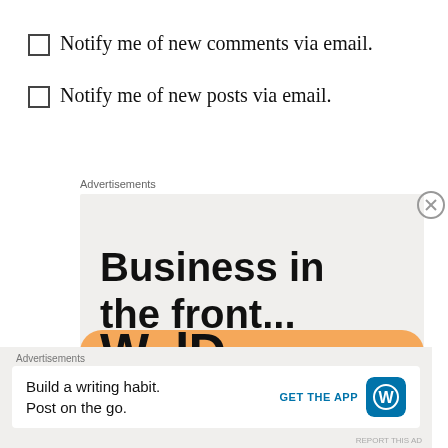Notify me of new comments via email.
Notify me of new posts via email.
Advertisements
[Figure (screenshot): Advertisement banner showing 'Business in the front...' text on light gray background with orange rounded bar at bottom showing partial WordPress logo text]
Advertisements
Build a writing habit. Post on the go.
GET THE APP